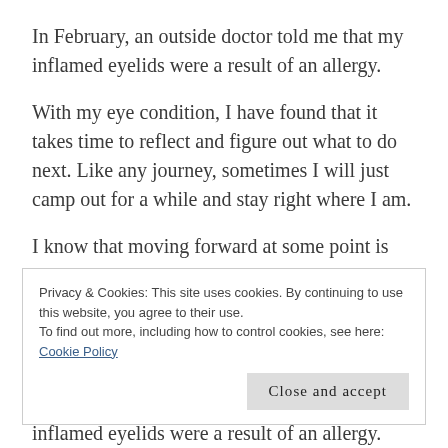In February, an outside doctor told me that my inflamed eyelids were a result of an allergy.
With my eye condition, I have found that it takes time to reflect and figure out what to do next. Like any journey, sometimes I will just camp out for a while and stay right where I am.
I know that moving forward at some point is still
Privacy & Cookies: This site uses cookies. By continuing to use this website, you agree to their use.
To find out more, including how to control cookies, see here: Cookie Policy
inflamed eyelids were a result of an allergy.